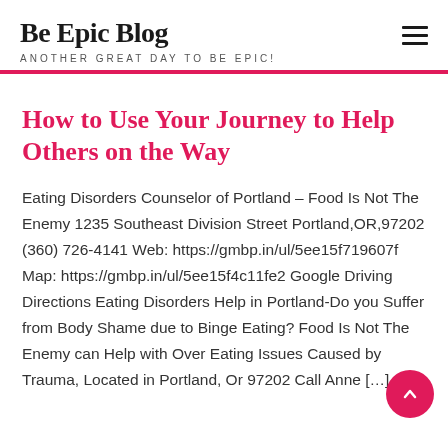Be Epic Blog
ANOTHER GREAT DAY TO BE EPIC!
How to Use Your Journey to Help Others on the Way
Eating Disorders Counselor of Portland – Food Is Not The Enemy 1235 Southeast Division Street Portland,OR,97202 (360) 726-4141 Web: https://gmbp.in/ul/5ee15f719607f Map: https://gmbp.in/ul/5ee15f4c11fe2 Google Driving Directions Eating Disorders Help in Portland-Do you Suffer from Body Shame due to Binge Eating? Food Is Not The Enemy can Help with Over Eating Issues Caused by Trauma, Located in Portland, Or 97202 Call Anne […]